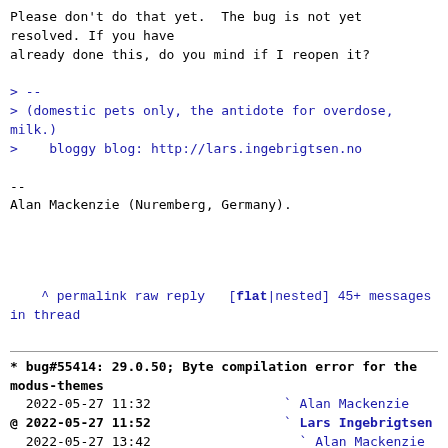Please don't do that yet.  The bug is not yet resolved. If you have
already done this, do you mind if I reopen it?

> --
> (domestic pets only, the antidote for overdose, milk.)
>    bloggy blog: http://lars.ingebrigtsen.no

--
Alan Mackenzie (Nuremberg, Germany).
^ permalink raw reply   [flat|nested] 45+ messages in thread
* bug#55414: 29.0.50; Byte compilation error for the modus-themes
  2022-05-27 11:32                 ` Alan Mackenzie
@ 2022-05-27 11:52                 ` Lars Ingebrigtsen
  2022-05-27 13:42                   ` Alan Mackenzie
  2022-05-27 12:15                   ` Protesilaos Stavrou
  1 sibling, 1 reply; 45+ messages in thread
From: Lars Ingebrigtsen @ 2022-05-27 11:52 UTC
(permalink / raw)
  To: Alan Mackenzie